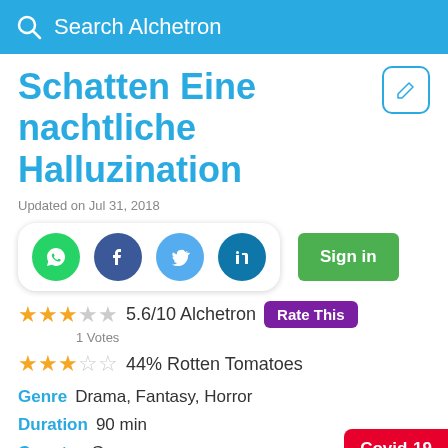Search Alchetron
Schatten Eine nachtliche Halluzination
Updated on Jul 31, 2018
[Figure (infographic): Social share buttons: WhatsApp, Facebook, Twitter, LinkedIn; Sign in button; Edit pencil button]
5.6/10 Alchetron Rate This 1 Votes
44% Rotten Tomatoes
Genre  Drama, Fantasy, Horror
Duration  90 min
Country  Germany
Covid-19